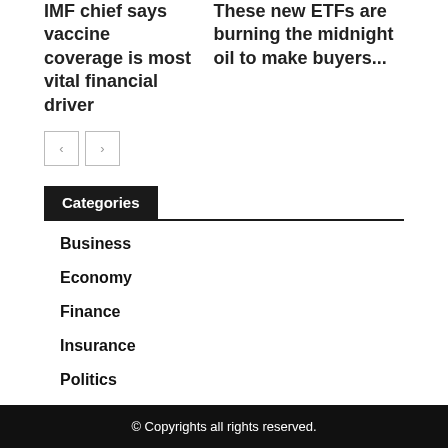IMF chief says vaccine coverage is most vital financial driver
These new ETFs are burning the midnight oil to make buyers...
Categories
Business
Economy
Finance
Insurance
Politics
© Copyrights all rights reserved.